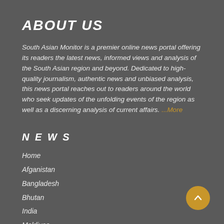ABOUT US
South Asian Monitor is a premier online news portal offering its readers the latest news, informed views and analysis of the South Asian region and beyond. Dedicated to high-quality journalism, authentic news and unbiased analysis, this news portal reaches out to readers around the world who seek updates of the unfolding events of the region as well as a discerning analysis of current affairs. ...More
NEWS
Home
Afganistan
Bangladesh
Bhutan
India
Maldives
Myanmar
Nepal